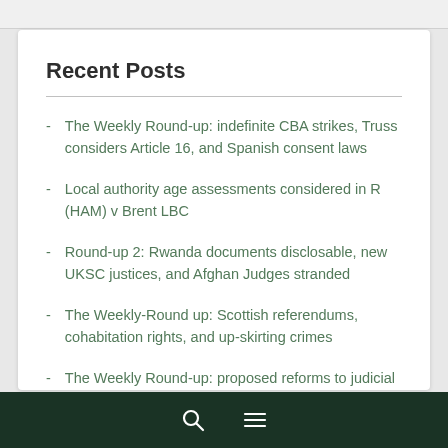Recent Posts
The Weekly Round-up: indefinite CBA strikes, Truss considers Article 16, and Spanish consent laws
Local authority age assessments considered in R (HAM) v Brent LBC
Round-up 2: Rwanda documents disclosable, new UKSC justices, and Afghan Judges stranded
The Weekly-Round up: Scottish referendums, cohabitation rights, and up-skirting crimes
The Weekly Round-up: proposed reforms to judicial review, Truss's promise to cut taxes, strip-searching of children by Metropolitan Police